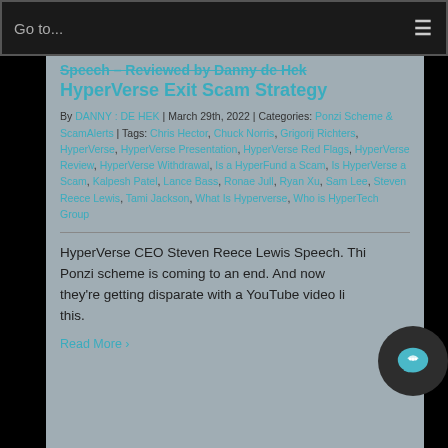Go to...
Speech – Reviewed by Danny de Hek HyperVerse Exit Scam Strategy
By DANNY : DE HEK | March 29th, 2022 | Categories: Ponzi Scheme & ScamAlerts | Tags: Chris Hector, Chuck Norris, Grigorij Richters, HyperVerse, HyperVerse Presentation, HyperVerse Red Flags, HyperVerse Review, HyperVerse Withdrawal, Is a HyperFund a Scam, Is HyperVerse a Scam, Kalpesh Patel, Lance Bass, Ronae Jull, Ryan Xu, Sam Lee, Steven Reece Lewis, Tami Jackson, What Is Hyperverse, Who is HyperTech Group
HyperVerse CEO Steven Reece Lewis Speech. This Ponzi scheme is coming to an end. And now they're getting disparate with a YouTube video like this.
Read More   4